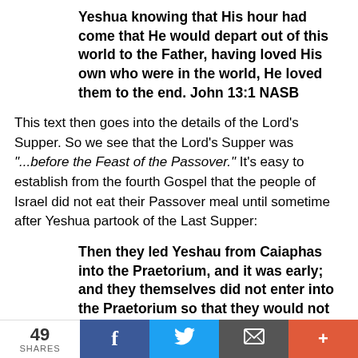Yeshua knowing that His hour had come that He would depart out of this world to the Father, having loved His own who were in the world, He loved them to the end. John 13:1 NASB
This text then goes into the details of the Lord's Supper. So we see that the Lord's Supper was "...before the Feast of the Passover." It's easy to establish from the fourth Gospel that the people of Israel did not eat their Passover meal until sometime after Yeshua partook of the Last Supper:
Then they led Yeshau from Caiaphas into the Praetorium, and it was early; and they themselves did not enter into the Praetorium so that they would not be defiled, but might eat the Passover. John
49 SHARES | Facebook | Twitter | Email | +